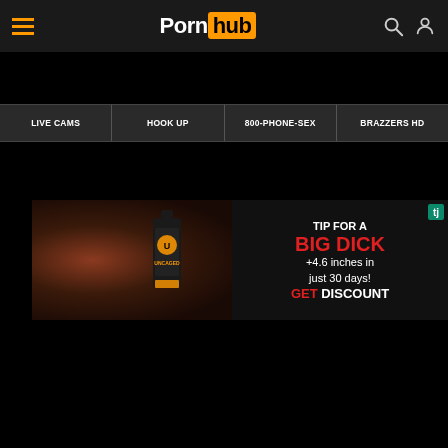Pornhub
LIVE CAMS
HOOK UP
800-PHONE-SEX
BRAZZERS HD
[Figure (screenshot): Advertisement banner: TIP FOR A BIG DICK +4.6 inches in just 30 days! GET DISCOUNT with supplement bottle image]
[Figure (screenshot): Adult video thumbnail with play button overlay and watermark @TekokiNadenade]